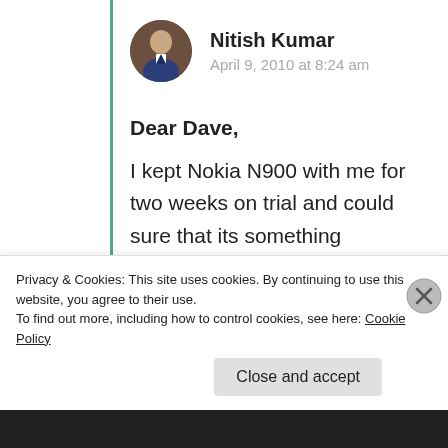Nitish Kumar
April 9, 2010 at 8:24 am
Dear Dave, I kept Nokia N900 with me for two weeks on trial and could sure that its something uncomparable. But would like to mention that while N900 sure snap good decent ones,
Privacy & Cookies: This site uses cookies. By continuing to use this website, you agree to their use.
To find out more, including how to control cookies, see here: Cookie Policy
Close and accept